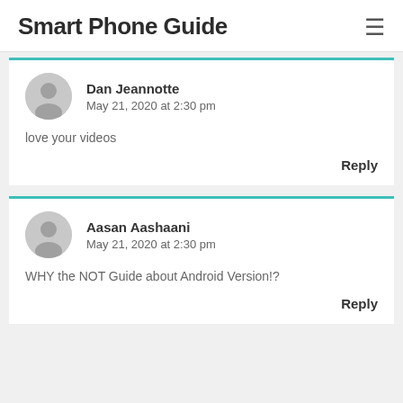Smart Phone Guide
Dan Jeannotte
May 21, 2020 at 2:30 pm
love your videos
Reply
Aasan Aashaani
May 21, 2020 at 2:30 pm
WHY the NOT Guide about Android Version!?
Reply